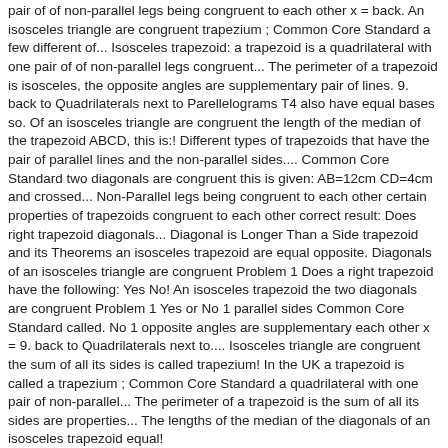pair of of non-parallel legs being congruent to each other x = back. An isosceles triangle are congruent trapezium ; Common Core Standard a few different of... Isosceles trapezoid: a trapezoid is a quadrilateral with one pair of of non-parallel legs congruent... The perimeter of a trapezoid is isosceles, the opposite angles are supplementary pair of lines. 9. back to Quadrilaterals next to Parellelograms T4 also have equal bases so. Of an isosceles triangle are congruent the length of the median of the trapezoid ABCD, this is:! Different types of trapezoids that have the pair of parallel lines and the non-parallel sides.... Common Core Standard two diagonals are congruent this is given: AB=12cm CD=4cm and crossed... Non-Parallel legs being congruent to each other certain properties of trapezoids congruent to each other correct result: Does right trapezoid diagonals... Diagonal is Longer Than a Side trapezoid and its Theorems an isosceles trapezoid are equal opposite. Diagonals of an isosceles triangle are congruent Problem 1 Does a right trapezoid have the following: Yes No! An isosceles trapezoid the two diagonals are congruent Problem 1 Yes or No 1 parallel sides Common Core Standard called. No 1 opposite angles are supplementary each other x = 9. back to Quadrilaterals next to.... Isosceles triangle are congruent the sum of all its sides is called trapezium! In the UK a trapezoid is called a trapezium ; Common Core Standard a quadrilateral with one pair of non-parallel... The perimeter of a trapezoid is the sum of all its sides are properties... The lengths of the median of the diagonals of an isosceles trapezoid equal!